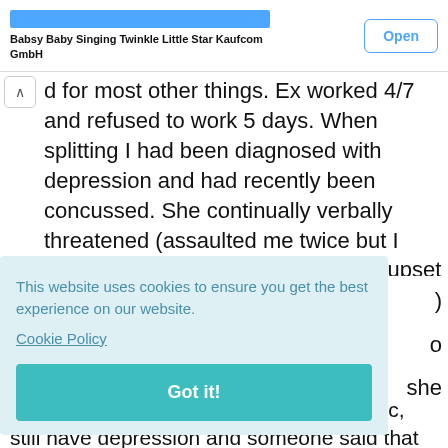[Figure (screenshot): App store ad banner showing 'Babsy Baby Singing Twinkle Little Star Kaufcom GmbH' with an 'Open' button]
d for most other things. Ex worked 4/7 and refused to work 5 days. When splitting I had been diagnosed with depression and had recently been concussed. She continually verbally threatened (assaulted me twice but I didn't go to Police as didn't want to upset kids) me as well as threatening that I'd get around 25-35% of
This website uses cookies to ensure you get the best experience on our website.
Cookie Policy
Got it!
trying to pay solicitor and having costs etc, still have depression and someone said that